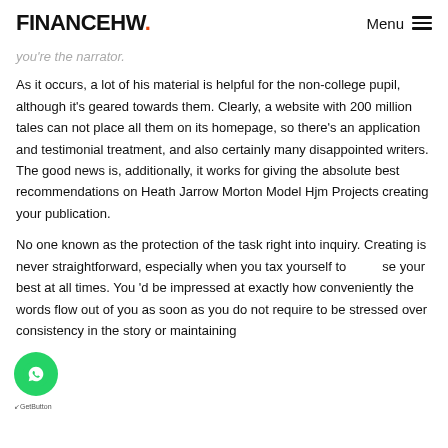FINANCEHW. Menu
you're the narrator.
As it occurs, a lot of his material is helpful for the non-college pupil, although it's geared towards them. Clearly, a website with 200 million tales can not place all them on its homepage, so there's an application and testimonial treatment, and also certainly many disappointed writers. The good news is, additionally, it works for giving the absolute best recommendations on Heath Jarrow Morton Model Hjm Projects creating your publication.
No one known as the protection of the task right into inquiry. Creating is never straightforward, especially when you tax yourself to use your best at all times. You 'd be impressed at exactly how conveniently the words flow out of you as soon as you do not require to be stressed over consistency in the story or maintaining